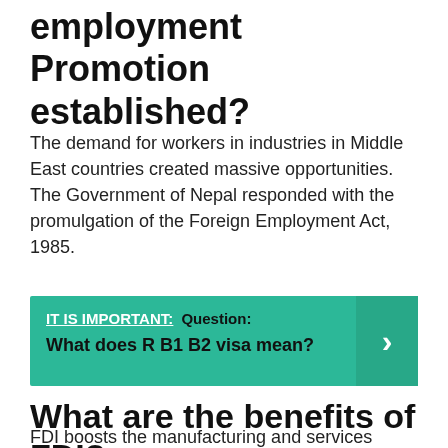employment Promotion established?
The demand for workers in industries in Middle East countries created massive opportunities. The Government of Nepal responded with the promulgation of the Foreign Employment Act, 1985.
IT IS IMPORTANT: Question: What does R B1 B2 visa mean?
What are the benefits of FDI?
FDI boosts the manufacturing and services sector which results in the creation of jobs